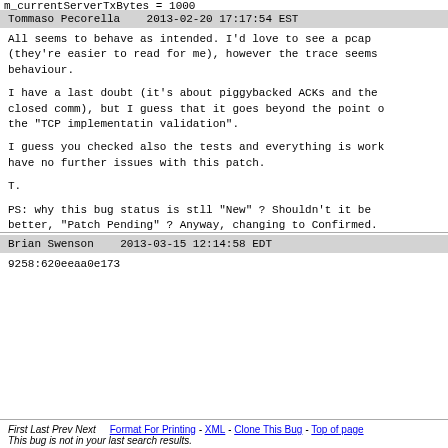m_currentServerTxBytes = 1000
Tommaso Pecorella    2013-02-20 17:17:54 EST
All seems to behave as intended. I'd love to see a pcap (they're easier to read for me), however the trace seems behaviour.

I have a last doubt (it's about piggybacked ACKs and the closed comm), but I guess that it goes beyond the point of the "TCP implementatin validation".

I guess you checked also the tests and everything is working, have no further issues with this patch.

T.

PS: why this bug status is stll "New" ? Shouldn't it be better, "Patch Pending" ? Anyway, changing to Confirmed.
Brian Swenson    2013-03-15 12:14:58 EDT
9258:620eeaa0e173
First Last Prev Next    Format For Printing - XML - Clone This Bug - Top of page
This bug is not in your last search results.